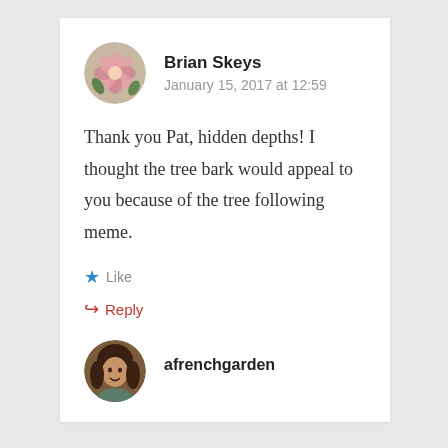Brian Skeys
January 15, 2017 at 12:59
Thank you Pat, hidden depths! I thought the tree bark would appeal to you because of the tree following meme.
Like
Reply
afrenchgarden